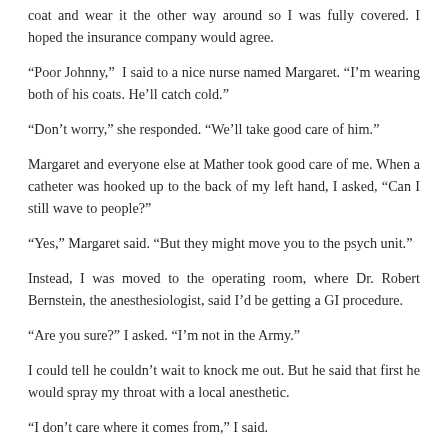coat and wear it the other way around so I was fully covered. I hoped the insurance company would agree.
“Poor Johnny,”  I said to a nice nurse named Margaret. “I’m wearing both of his coats. He’ll catch cold.”
“Don’t worry,” she responded. “We’ll take good care of him.”
Margaret and everyone else at Mather took good care of me. When a catheter was hooked up to the back of my left hand, I asked, “Can I still wave to people?”
“Yes,” Margaret said. “But they might move you to the psych unit.”
Instead, I was moved to the operating room, where Dr. Robert Bernstein, the anesthesiologist, said I’d be getting a GI procedure.
“Are you sure?” I asked. “I’m not in the Army.”
I could tell he couldn’t wait to knock me out. But he said that first he would spray my throat with a local anesthetic.
“I don’t care where it comes from,” I said.
“It’s to prevent a gag reflex,” Dr. Bernstein explained.